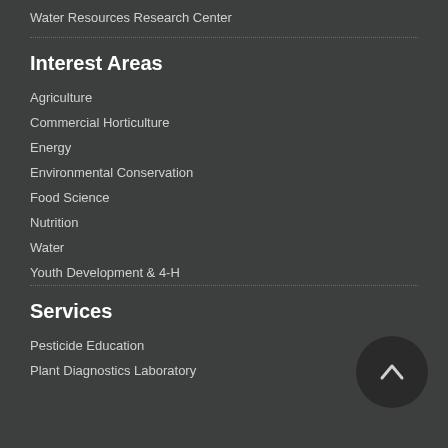Water Resources Research Center
Interest Areas
Agriculture
Commercial Horticulture
Energy
Environmental Conservation
Food Science
Nutrition
Water
Youth Development & 4-H
Services
Pesticide Education
Plant Diagnostics Laboratory